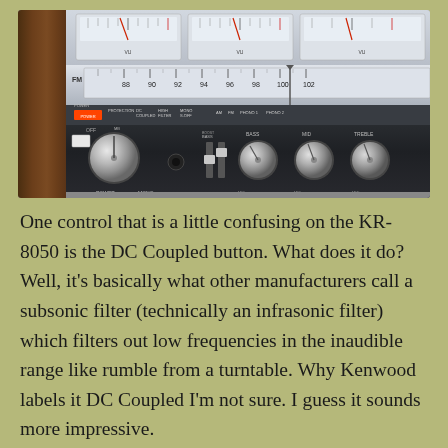[Figure (photo): Close-up photograph of a Kenwood KR-8050 stereo receiver front panel, showing VU meters at top, FM tuner dial with frequency markings (88, 90, 92, 94, 96, 98, 100, 102), and the control panel with power knob, various buttons including DC Coupled, bass/mid/treble tone control knobs, and other controls on a dark silver/chrome face with wood side panel.]
One control that is a little confusing on the KR-8050 is the DC Coupled button. What does it do? Well, it’s basically what other manufacturers call a subsonic filter (technically an infrasonic filter) which filters out low frequencies in the inaudible range like rumble from a turntable. Why Kenwood labels it DC Coupled I’m not sure. I guess it sounds more impressive.